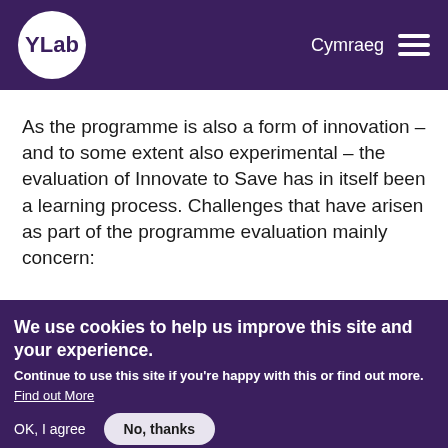YLab | Cymraeg
As the programme is also a form of innovation – and to some extent also experimental – the evaluation of Innovate to Save has in itself been a learning process. Challenges that have arisen as part of the programme evaluation mainly concern:
We use cookies to help us improve this site and your experience. Continue to use this site if you're happy with this or find out more. Find out More | OK, I agree | No, thanks